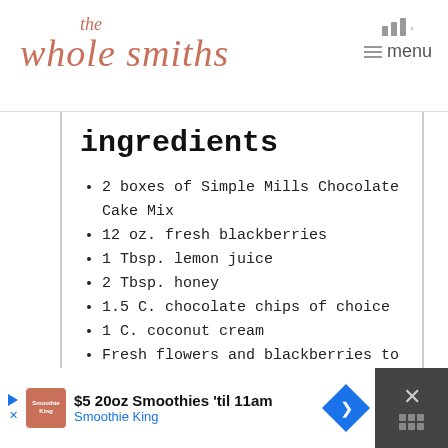the whole smiths | menu
ingredients
2 boxes of Simple Mills Chocolate Cake Mix
12 oz. fresh blackberries
1 Tbsp. lemon juice
2 Tbsp. honey
1.5 C. chocolate chips of choice
1 C. coconut cream
Fresh flowers and blackberries to decorate
Pinch of salt
$5 20oz Smoothies 'til 11am — Smoothie King